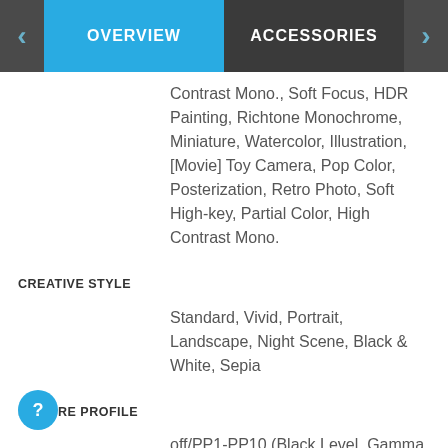OVERVIEW | ACCESSORIES
Contrast Mono., Soft Focus, HDR Painting, Richtone Monochrome, Miniature, Watercolor, Illustration, [Movie] Toy Camera, Pop Color, Posterization, Retro Photo, Soft High-key, Partial Color, High Contrast Mono.
CREATIVE STYLE
Standard, Vivid, Portrait, Landscape, Night Scene, Black & White, Sepia
PICTURE PROFILE
off/PP1-PP10 (Black Level, Gamma (Movie, Still, Cine1–2, ITU709, ITU709 [800%], S-Log2, S-Log3, HLG, HLG1, HLG2, HLG3), Black Gamma, Knee, Color Mode, Saturation, Color Phase, Color Depth, Detail, Copy, Reset)